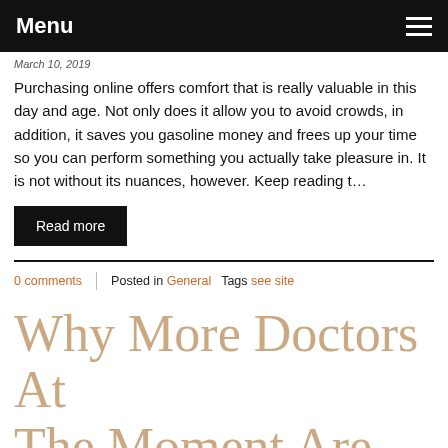Menu
March 10, 2019
Purchasing online offers comfort that is really valuable in this day and age. Not only does it allow you to avoid crowds, in addition, it saves you gasoline money and frees up your time so you can perform something you actually take pleasure in. It is not without its nuances, however. Keep reading t…
Read more
0 comments | Posted in General Tags see site
Why More Doctors At The Moment Are